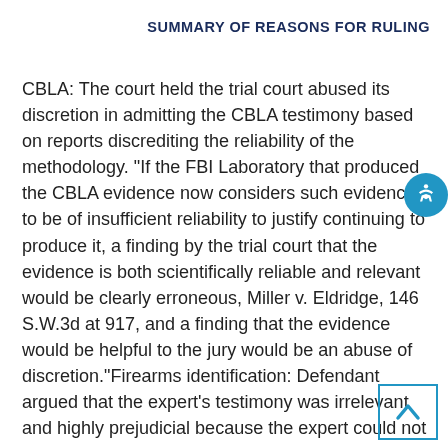SUMMARY OF REASONS FOR RULING
CBLA: The court held the trial court abused its discretion in admitting the CBLA testimony based on reports discrediting the reliability of the methodology. "If the FBI Laboratory that produced the CBLA evidence now considers such evidence to be of insufficient reliability to justify continuing to produce it, a finding by the trial court that the evidence is both scientifically reliable and relevant would be clearly erroneous, Miller v. Eldridge, 146 S.W.3d at 917, and a finding that the evidence would be helpful to the jury would be an abuse of discretion."Firearms identification: Defendant argued that the expert's testimony was irrelevant and highly prejudicial because the expert could not state